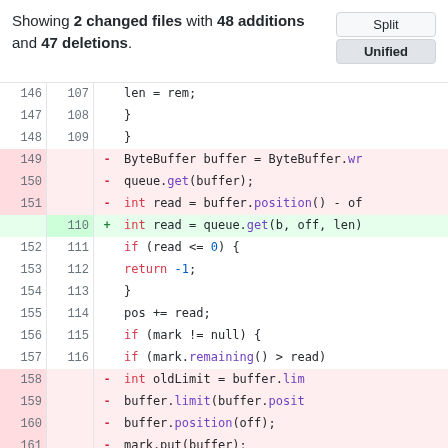Showing 2 changed files with 48 additions and 47 deletions.
[Figure (screenshot): Code diff view with Split/Unified toggle buttons and diff lines 146-163/107-118 showing Java code changes to ByteBuffer/queue.get operations.]